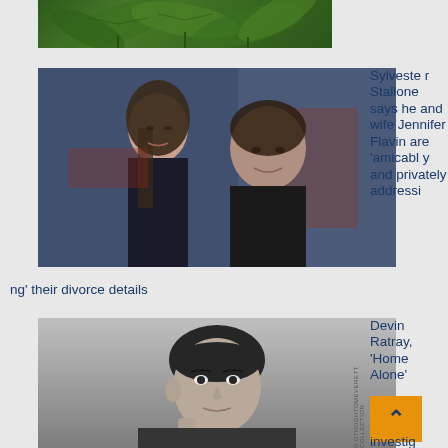[Figure (photo): Cannabis/marijuana plant leaves, green foliage close-up]
[Figure (photo): Sylvester Stallone and wife Jennifer Flavin posing together at an event, blue/red background]
Sylvester Stallone says he and wife Jennifer Flavin are 'amicably and privately addressing' their divorce details
[Figure (photo): Devin Ratray, 'Home Alone' actor, black and white photo of young boy]
Devin Ratray, 'Home Alone'
investig